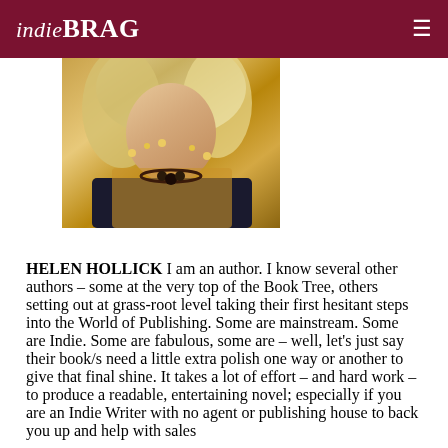indieBRAG
[Figure (photo): Partial photo of a woman with blonde/white hair wearing gold floral jewelry and a dark outfit with gold lace detail]
HELEN HOLLICK I am an author. I know several other authors – some at the very top of the Book Tree, others setting out at grass-root level taking their first hesitant steps into the World of Publishing. Some are mainstream. Some are Indie. Some are fabulous, some are – well, let's just say their book/s need a little extra polish one way or another to give that final shine. It takes a lot of effort – and hard work – to produce a readable, entertaining novel; especially if you are an Indie Writer with no agent or publishing house to back you up and help with sales